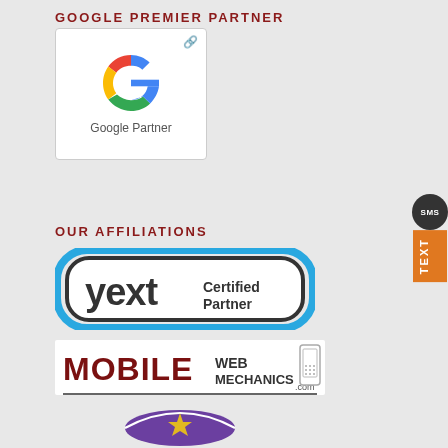GOOGLE PREMIER PARTNER
[Figure (logo): Google Partner logo — large colorful G with text 'Google Partner' below, inside a white rounded rectangle with a link icon]
[Figure (illustration): SMS chat bubble and orange TEXT button on the right edge]
OUR AFFILIATIONS
[Figure (logo): Yext Certified Partner logo — blue and dark rounded rectangle badge]
[Figure (logo): Mobile Web Mechanics.com logo with dark red bold text and phone graphic]
[Figure (logo): Purple circular logo partially visible at bottom]